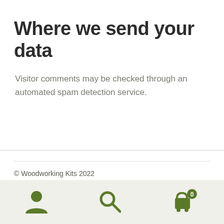Where we send your data
Visitor comments may be checked through an automated spam detection service.
© Woodworking Kits 2022
Privacy Policy | Built with Storefront & WooCommerce.
[Figure (infographic): Bottom navigation bar with three icons: user/account icon, search magnifying glass icon, and shopping cart icon with a badge showing '0']